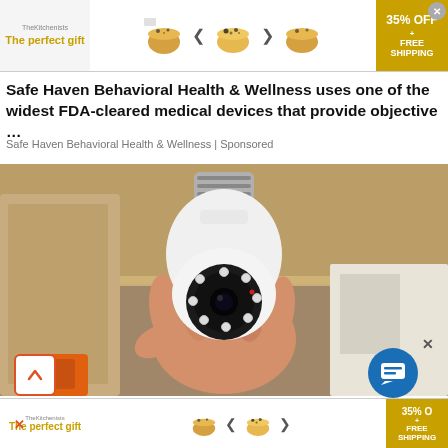[Figure (screenshot): Screenshot of a webpage showing a sponsored ad banner at top with 'The perfect gift' text and food bowl images, a behavioral health article headline, a photo of a person holding a light bulb security camera, and another ad banner at bottom]
Get Te
Safe Haven Behavioral Health & Wellness uses one of the widest FDA-cleared medical devices that provide objective …
Safe Haven Behavioral Health & Wellness | Sponsored
[Figure (photo): A hand holding a white security camera shaped like a light bulb with a screw base and camera lens with LED ring]
[Figure (infographic): Bottom ad banner: The perfect gift with food bowl images, arrows, and 35% OFF + FREE SHIPPING offer]